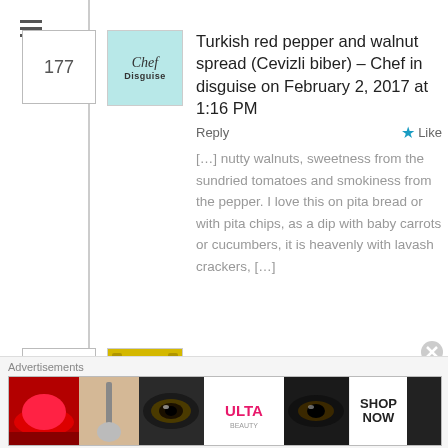177
[Figure (logo): Chef in Disguise blog logo with teal background]
Turkish red pepper and walnut spread (Cevizli biber) – Chef in disguise on February 2, 2017 at 1:16 PM
Reply
Like
[…] nutty walnuts, sweetness from the sundried tomatoes and smokiness from the pepper. I love this on pita bread or with pita chips, as a dip with baby carrots or cucumbers, it is heavenly with lavash crackers, […]
178
[Figure (logo): Film strip style avatar in gold/yellow]
Sana Alsarayreh on November 5, 2017 at 2:48 AM
Reply
Like
Advertisements
[Figure (photo): Ulta beauty advertisement banner showing makeup images and SHOP NOW text]